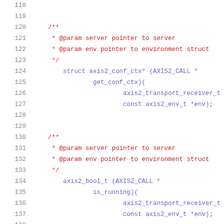Source code listing lines 118-139 showing C struct/function pointer declarations with Doxygen comments